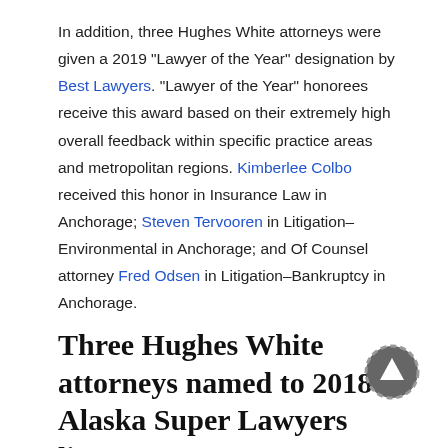In addition, three Hughes White attorneys were given a 2019 "Lawyer of the Year" designation by Best Lawyers. "Lawyer of the Year" honorees receive this award based on their extremely high overall feedback within specific practice areas and metropolitan regions. Kimberlee Colbo received this honor in Insurance Law in Anchorage; Steven Tervooren in Litigation–Environmental in Anchorage; and Of Counsel attorney Fred Odsen in Litigation–Bankruptcy in Anchorage.
Three Hughes White attorneys named to 2018 Alaska Super Lawyers list